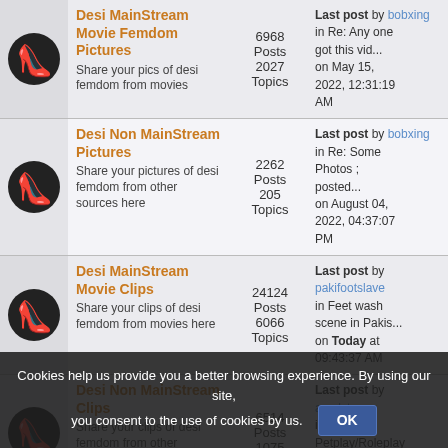Desi MainStream Movie Femdom Pictures — Share your pics of desi femdom from movies — 6968 Posts, 2027 Topics — Last post by bobxing in Re: Any one got this vid... on May 15, 2022, 12:31:19 AM
Desi Non MainStream Pictures — Share your pictures of desi femdom from other sources here — 2262 Posts, 205 Topics — Last post by bobxing in Re: Some Photos ; posted... on August 04, 2022, 04:37:07 PM
Desi MainStream Movie Clips — Share your clips of desi femdom from movies here — 24124 Posts, 6066 Topics — Last post by pakifootslave in Feet wash scene in Pakis... on Today at 09:43:37 AM
Desi Non MainStream Clips — Share your clips of desi femdom from other sources here — 6514 Posts, 1075 Topics — Last post by asadxtreme in Re: Petplay/Roleplay doo... on [date] 05:11 PM
Cookies help us provide you a better browsing experience. By using our site, you consent to the use of cookies by us.